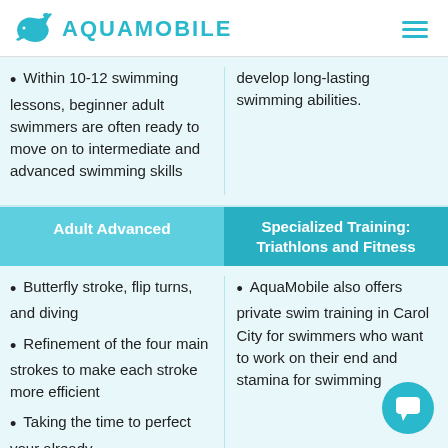AQUAMOBILE
Within 10-12 swimming lessons, beginner adult swimmers are often ready to move on to intermediate and advanced swimming skills
develop long-lasting swimming abilities.
Adult Advanced
Specialized Training: Triathlons and Fitness
Butterfly stroke, flip turns, and diving
Refinement of the four main strokes to make each stroke more efficient
Taking the time to perfect your already
AquaMobile also offers private swim training in Carol City for swimmers who want to work on their end and stamina for swimming